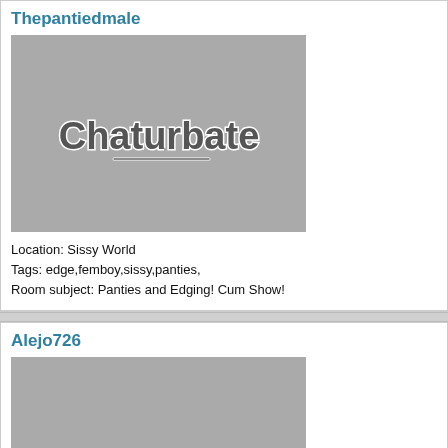Thepantiedmale
[Figure (photo): Chaturbate logo placeholder thumbnail image on grey background]
Location: Sissy World
Tags: edge,femboy,sissy,panties,
Room subject: Panties and Edging! Cum Show!
Alejo726
[Figure (photo): Grey placeholder thumbnail image]